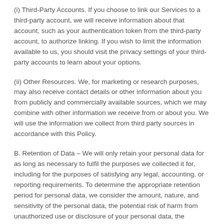(i) Third-Party Accounts. If you choose to link our Services to a third-party account, we will receive information about that account, such as your authentication token from the third-party account, to authorize linking. If you wish to limit the information available to us, you should visit the privacy settings of your third-party accounts to learn about your options.
(ii) Other Resources. We, for marketing or research purposes, may also receive contact details or other information about you from publicly and commercially available sources, which we may combine with other information we receive from or about you. We will use the information we collect from third party sources in accordance with this Policy.
B. Retention of Data – We will only retain your personal data for as long as necessary to fulfil the purposes we collected it for, including for the purposes of satisfying any legal, accounting, or reporting requirements. To determine the appropriate retention period for personal data, we consider the amount, nature, and sensitivity of the personal data, the potential risk of harm from unauthorized use or disclosure of your personal data, the purposes for which we process your personal data and whether we can achieve those purposes through other means, and the applicable legal requirements.